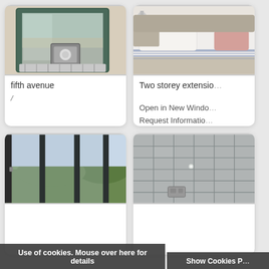[Figure (photo): Top-left card: photo of a glass door with a cat flap and a patterned mat inside]
fifth avenue
/
[Figure (photo): Top-right card: photo of a bedroom with a bed, pink pillow, and blue striped bedding next to a nightstand]
Two storey extensio…
Open in New Windo…
Request Informatio…
[Figure (photo): Bottom-left card: photo of large glass sliding/folding doors opening to garden with greenery]
[Figure (photo): Bottom-right card: photo of a tiled shower enclosure with grey/white tiles and shower fittings]
Use of cookies. Mouse over here for details
Show Cookies P…